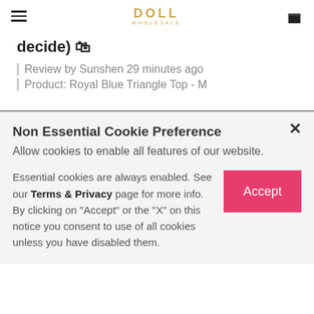DOLL WORLDWIDE — hamburger menu, logo, bag icon
decide) 🛒
Review by Sunshen 29 minutes ago
Product: Royal Blue Triangle Top - M
Non Essential Cookie Preference
Allow cookies to enable all features of our website.
Essential cookies are always enabled. See our Terms & Privacy page for more info. By clicking on "Accept" or the "X" on this notice you consent to use of all cookies unless you have disabled them.